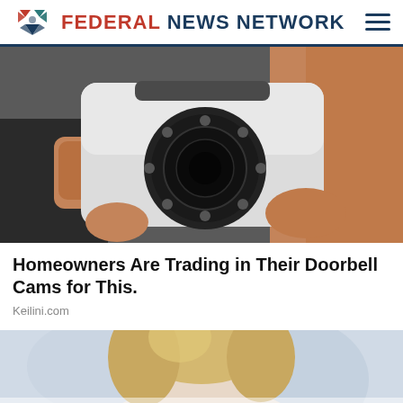FEDERAL NEWS NETWORK
[Figure (photo): Close-up of a hand holding a small white dome security/surveillance camera with a dark lens and LED ring.]
Homeowners Are Trading in Their Doorbell Cams for This.
Keilini.com
[Figure (photo): Partial view of a blonde woman's face, cropped, appearing in a news article thumbnail.]